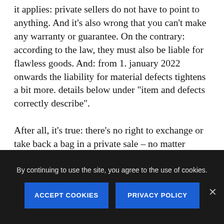it applies: private sellers do not have to point to anything. And it's also wrong that you can't make any warranty or guarantee. On the contrary: according to the law, they must also be liable for flawless goods. And: from 1. january 2022 onwards the liability for material defects tightens a bit more. details below under "item and defects correctly describe".
After all, it's true: there's no right to exchange or take back a bag in a private sale – no matter
By continuing to use the site, you agree to the use of cookies.